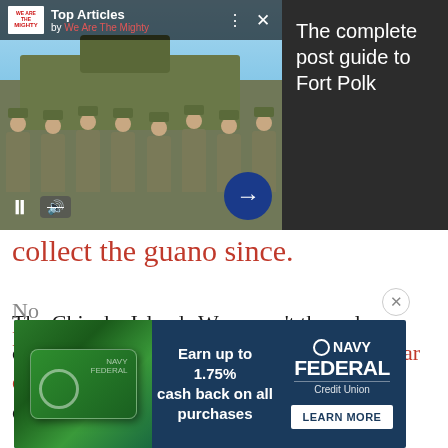[Figure (screenshot): Top Articles video widget from We Are The Mighty showing soldiers standing in front of a military tank, with video controls (pause, mute) and a next arrow button]
The complete post guide to Fort Polk
collect the guano since.
The Chincha Islands War wasn't the only conflict the nations fought for guano. The War of the Pacific from 1879–1884 was partially over guano de...
[Figure (screenshot): Navy Federal Credit Union advertisement: Earn up to 1.75% cash back on all purchases. Shows a green credit card and a Learn More button.]